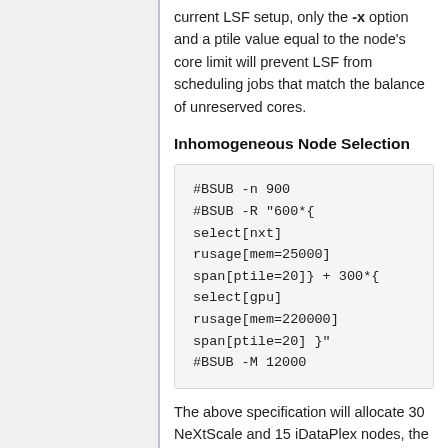current LSF setup, only the -x option and a ptile value equal to the node's core limit will prevent LSF from scheduling jobs that match the balance of unreserved cores.
Inhomogeneous Node Selection
#BSUB -n 900
#BSUB -R "600*{
select[nxt]
rusage[mem=25000]
span[ptile=20]} + 300*{
select[gpu]
rusage[mem=220000]
span[ptile=20] }"
#BSUB -M 12000
The above specification will allocate 30 NeXtScale and 15 iDataPlex nodes, the latter with GPUs, at 20 cores per node.